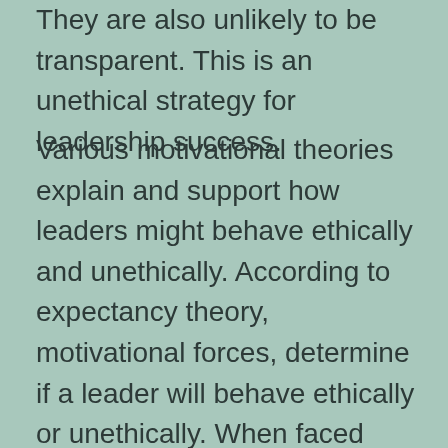They are also unlikely to be transparent. This is an unethical strategy for leadership success.
Various motivational theories explain and support how leaders might behave ethically and unethically. According to expectancy theory, motivational forces, determine if a leader will behave ethically or unethically. When faced with alternative behavioral paths, leaders will choose the path with the highest motivational force. According to organizational theory, leaders will behave ethically or unethically depending on their ethical quality (Argandona, 2008). Also, leaders may justify